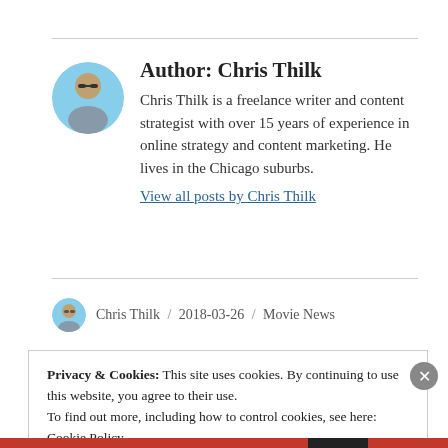[Figure (photo): Circular avatar photo of Chris Thilk wearing sunglasses, outdoors with blue sky background]
Author: Chris Thilk
Chris Thilk is a freelance writer and content strategist with over 15 years of experience in online strategy and content marketing. He lives in the Chicago suburbs.
View all posts by Chris Thilk
[Figure (photo): Small circular avatar of Chris Thilk]
Chris Thilk / 2018-03-26 / Movie News
Privacy & Cookies: This site uses cookies. By continuing to use this website, you agree to their use.
To find out more, including how to control cookies, see here: Cookie Policy
Close and accept